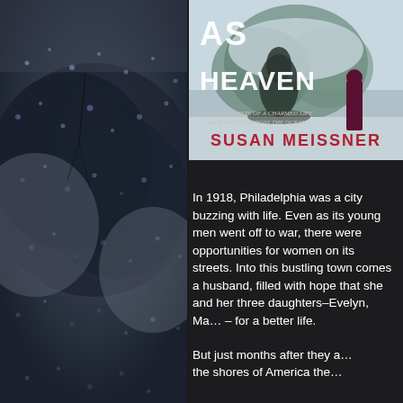[Figure (photo): Rainy window with dark stormy background, water droplets on glass, moody atmospheric photo occupying the left half of the page]
[Figure (photo): Book cover showing 'As Heaven' by Susan Meissner, with a woman in a dark coat standing near a fountain in winter, white large title text and author name in red]
In 1918, Philadelphia was a city buzzing with life. Even as its young men went off to war, there were opportunities for women on its streets. Into this bustling town comes a husband, filled with hope that she and her three daughters–Evelyn, Ma… – for a better life.
But just months after they a… the shores of America the…